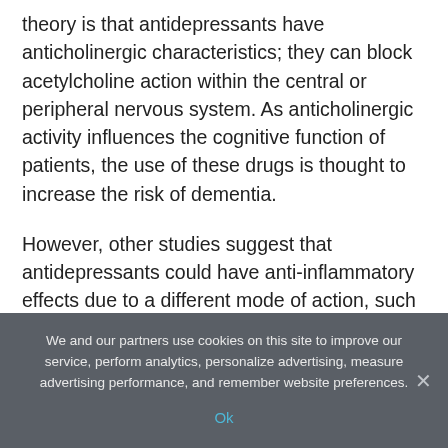theory is that antidepressants have anticholinergic characteristics; they can block acetylcholine action within the central or peripheral nervous system. As anticholinergic activity influences the cognitive function of patients, the use of these drugs is thought to increase the risk of dementia.
However, other studies suggest that antidepressants could have anti-inflammatory effects due to a different mode of action, such as modification of glial activation, which reduces the risk of dementia.
Studies on both hypotheses have been conducted.
We and our partners use cookies on this site to improve our service, perform analytics, personalize advertising, measure advertising performance, and remember website preferences.